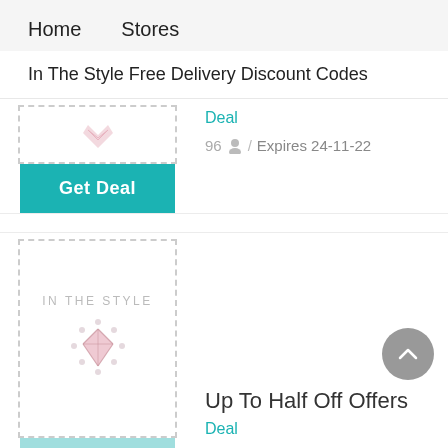Home   Stores
In The Style Free Delivery Discount Codes
Deal
96 / Expires 24-11-22
[Figure (logo): In The Style brand logo with decorative diamond/heart pattern]
Up To Half Off Offers
Deal
35 / Expires 8-8-22